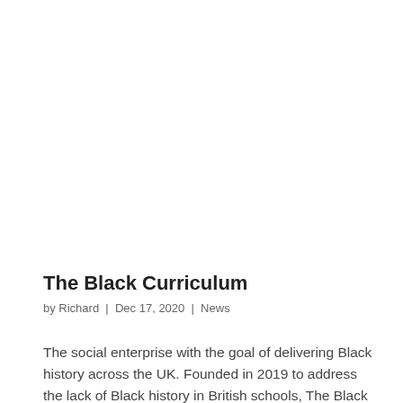The Black Curriculum
by Richard | Dec 17, 2020 | News
The social enterprise with the goal of delivering Black history across the UK. Founded in 2019 to address the lack of Black history in British schools, The Black Curriculum is a social enterprise with the